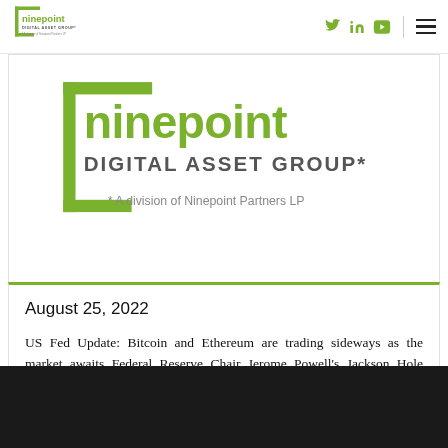ninepoint DIGITAL ASSET GROUP* * A division of Ninepoint Partners LP
[Figure (logo): Ninepoint Digital Asset Group logo — large green bracket/square motif with 'ninepoint' in green text and 'DIGITAL ASSET GROUP*' in dark gray, subtitle '* A division of Ninepoint Partners LP']
August 25, 2022
US Fed Update: Bitcoin and Ethereum are trading sideways as the market awaits Federal Reserve Chair Jerome Powell's Jackson Hole remarks,...